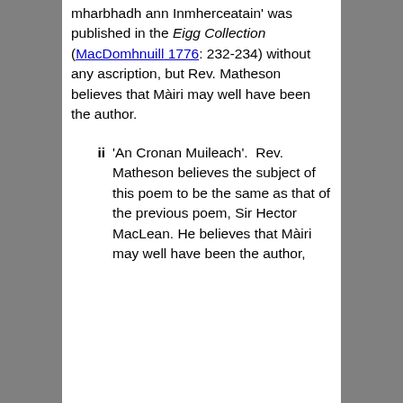mharbhadh ann Inmherceatain' was published in the Eigg Collection (MacDomhnuill 1776: 232-234) without any ascription, but Rev. Matheson believes that Màiri may well have been the author.
ii  'An Cronan Muileach'.  Rev. Matheson believes the subject of this poem to be the same as that of the previous poem, Sir Hector MacLean. He believes that Màiri may well have been the author,